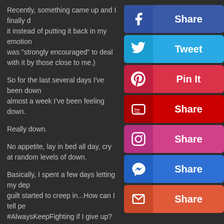Recently, something came up and I finally d... it instead of putting it back in my emotion... was "strongly encouraged" to deal with it by those close to me.
So for the last several days I've been down... almost a week I've been feeling down.
Really down.
No appetite, lay in bed all day, cry at random levels of down.
Basically, I spent a few days letting my dep... guilt started to creep in...How can I tell pe... #AlwaysKeepFighting if I give up?
So I reframed my thinking.
I took a rest day.
[Figure (infographic): Social sharing buttons panel: Facebook Share (dark blue), Twitter Tweet (light blue), Pinterest Pin It (red/pink), YouTube Share (dark red), Instagram Share (magenta/pink), Messenger Share (blue), Email Share (orange-red)]